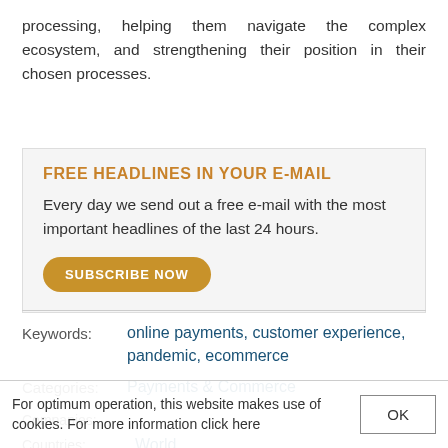processing, helping them navigate the complex ecosystem, and strengthening their position in their chosen processes.
FREE HEADLINES IN YOUR E-MAIL
Every day we send out a free e-mail with the most important headlines of the last 24 hours.
SUBSCRIBE NOW
Keywords: online payments, customer experience, pandemic, ecommerce
Categories: Payments & Commerce
Companies:
Countries: World
For optimum operation, this website makes use of cookies. For more information click here